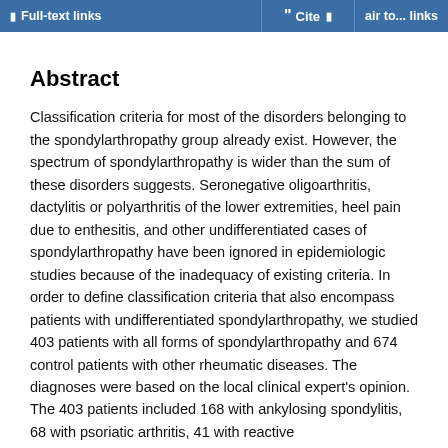Full-text links  Cite  air to... links
Abstract
Classification criteria for most of the disorders belonging to the spondylarthropathy group already exist. However, the spectrum of spondylarthropathy is wider than the sum of these disorders suggests. Seronegative oligoarthritis, dactylitis or polyarthritis of the lower extremities, heel pain due to enthesitis, and other undifferentiated cases of spondylarthropathy have been ignored in epidemiologic studies because of the inadequacy of existing criteria. In order to define classification criteria that also encompass patients with undifferentiated spondylarthropathy, we studied 403 patients with all forms of spondylarthropathy and 674 control patients with other rheumatic diseases. The diagnoses were based on the local clinical expert's opinion. The 403 patients included 168 with ankylosing spondylitis, 68 with psoriatic arthritis, 41 with reactive